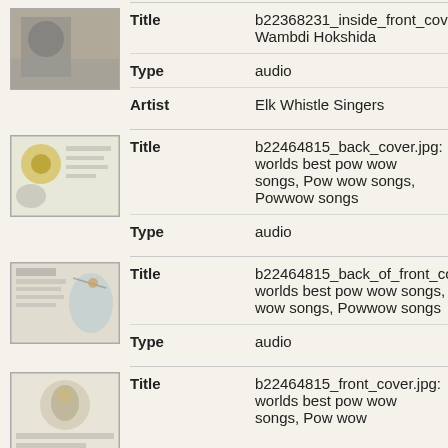|  | Field | Value |
| --- | --- | --- |
| [thumbnail] | Title | b22368231_inside_front_cover.jpg: Wambdi Hokshida |
|  | Type | audio |
|  | Artist | Elk Whistle Singers |
| [thumbnail] | Title | b22464815_back_cover.jpg: worlds best pow wow songs, Pow wow songs, Powwow songs |
|  | Type | audio |
| [thumbnail] | Title | b22464815_back_of_front_cover.jpg: worlds best pow wow songs, Pow wow songs, Powwow songs |
|  | Type | audio |
| [thumbnail] | Title | b22464815_front_cover.jpg: worlds best pow wow songs, Pow wow |